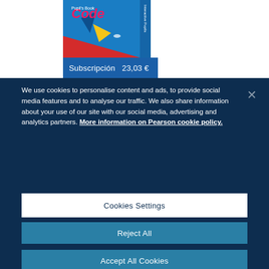[Figure (illustration): Book cover showing 'Code' title with blue background and craft/rocket imagery, with 'Interactive Pupils' text on spine]
Subscripción  23,03 €
We use cookies to personalise content and ads, to provide social media features and to analyse our traffic. We also share information about your use of our site with our social media, advertising and analytics partners. More information on Pearson cookie policy.
Cookies Settings
Reject All
Accept All Cookies